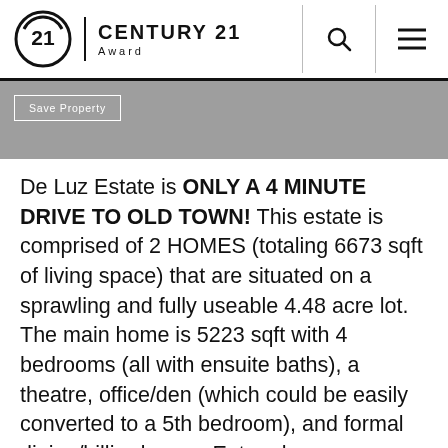CENTURY 21 Award
Save Property
De Luz Estate is ONLY A 4 MINUTE DRIVE TO OLD TOWN! This estate is comprised of 2 HOMES (totaling 6673 sqft of living space) that are situated on a sprawling and fully useable 4.48 acre lot. The main home is 5223 sqft with 4 bedrooms (all with ensuite baths), a theatre, office/den (which could be easily converted to a 5th bedroom), and formal dining/billiard room. Enter along